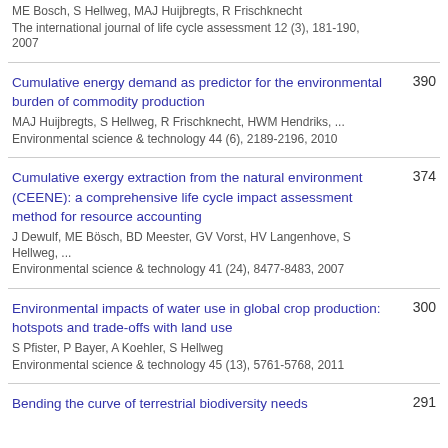ME Bosch, S Hellweg, MAJ Huijbregts, R Frischknecht
The international journal of life cycle assessment 12 (3), 181-190, 2007
Cumulative energy demand as predictor for the environmental burden of commodity production
MAJ Huijbregts, S Hellweg, R Frischknecht, HWM Hendriks, ...
Environmental science & technology 44 (6), 2189-2196, 2010
390
Cumulative exergy extraction from the natural environment (CEENE): a comprehensive life cycle impact assessment method for resource accounting
J Dewulf, ME Bösch, BD Meester, GV Vorst, HV Langenhove, S Hellweg, ...
Environmental science & technology 41 (24), 8477-8483, 2007
374
Environmental impacts of water use in global crop production: hotspots and trade-offs with land use
S Pfister, P Bayer, A Koehler, S Hellweg
Environmental science & technology 45 (13), 5761-5768, 2011
300
Bending the curve of terrestrial biodiversity needs
291